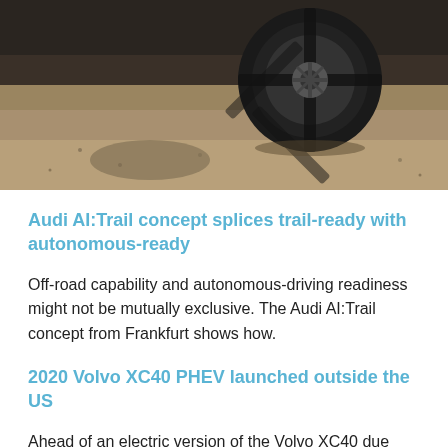[Figure (photo): Top portion of a vehicle tire/wheel on a gravel/dirt terrain background, partially cropped]
Audi AI:Trail concept splices trail-ready with autonomous-ready
Off-road capability and autonomous-driving readiness might not be mutually exclusive. The Audi AI:Trail concept from Frankfurt shows how.
2020 Volvo XC40 PHEV launched outside the US
Ahead of an electric version of the Volvo XC40 due next year, a plug-in hybrid XC40 will arrive with more than 20 miles of range, plus AWD...